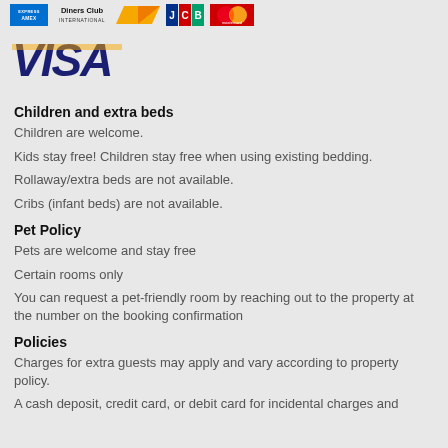[Figure (logo): Payment card logos: American Express, Diners Club International, an orange card logo, JCB, MasterCard]
[Figure (logo): VISA logo in blue italic with gold accent]
Children and extra beds
Children are welcome.
Kids stay free! Children stay free when using existing bedding.
Rollaway/extra beds are not available.
Cribs (infant beds) are not available.
Pet Policy
Pets are welcome and stay free
Certain rooms only
You can request a pet-friendly room by reaching out to the property at the number on the booking confirmation
Policies
Charges for extra guests may apply and vary according to property policy.
A cash deposit, credit card, or debit card for incidental charges and